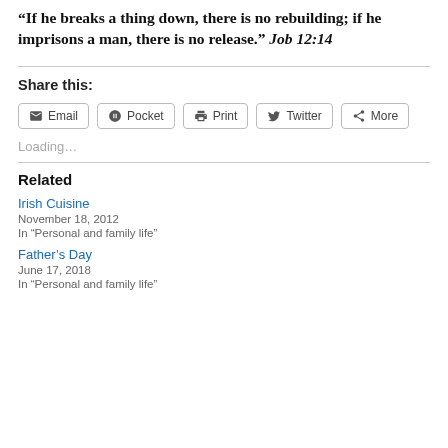“If he breaks a thing down, there is no rebuilding; if he imprisons a man, there is no release.” Job 12:14
Share this:
Email  Pocket  Print  Twitter  More
Loading…
Related
Irish Cuisine
November 18, 2012
In “Personal and family life”
Father’s Day
June 17, 2018
In “Personal and family life”